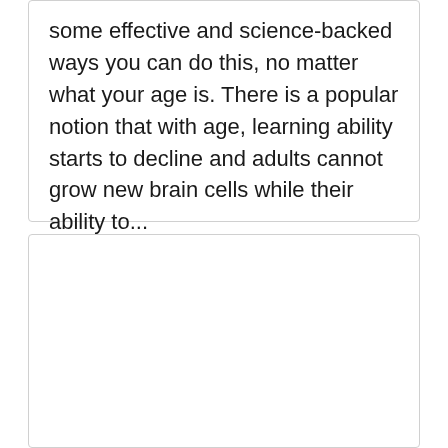some effective and science-backed ways you can do this, no matter what your age is. There is a popular notion that with age, learning ability starts to decline and adults cannot grow new brain cells while their ability to...